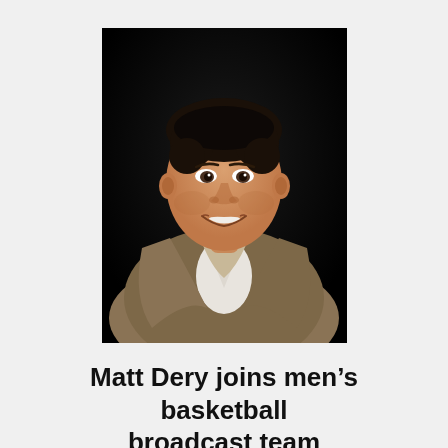[Figure (photo): Professional headshot of Matt Dery, a man with dark hair wearing a tan/khaki blazer over a white shirt, smiling against a dark background.]
Matt Dery joins men's basketball broadcast team